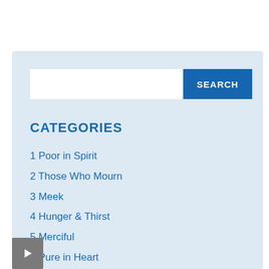CATEGORIES
1 Poor in Spirit
2 Those Who Mourn
3 Meek
4 Hunger & Thirst
5 Merciful
6 Pure in Heart
7 Peacemakers
8 Persecuted